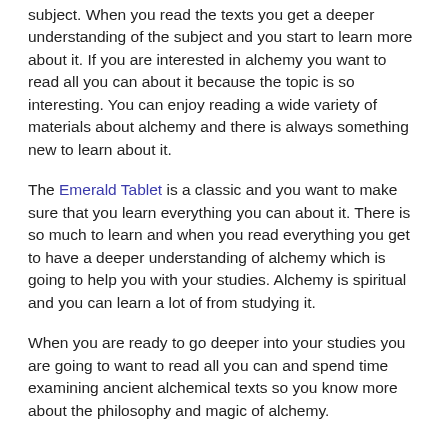subject. When you read the texts you get a deeper understanding of the subject and you start to learn more about it. If you are interested in alchemy you want to read all you can about it because the topic is so interesting. You can enjoy reading a wide variety of materials about alchemy and there is always something new to learn about it.
The Emerald Tablet is a classic and you want to make sure that you learn everything you can about it. There is so much to learn and when you read everything you get to have a deeper understanding of alchemy which is going to help you with your studies. Alchemy is spiritual and you can learn a lot of from studying it.
When you are ready to go deeper into your studies you are going to want to read all you can and spend time examining ancient alchemical texts so you know more about the philosophy and magic of alchemy.
UPDATED: October 10, 2018
CATEGORIES: EMERALD TABLETS   TAGS: EMERALD TABLETS